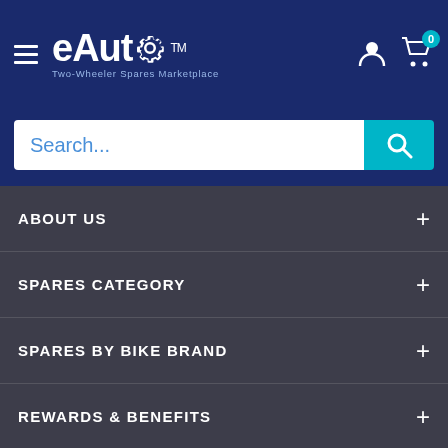[Figure (logo): eAuto Two-Wheeler Spares Marketplace logo with gear icon, white text on dark blue background]
Search...
ABOUT US
SPARES CATEGORY
SPARES BY BIKE BRAND
REWARDS & BENEFITS
ANDROID APP